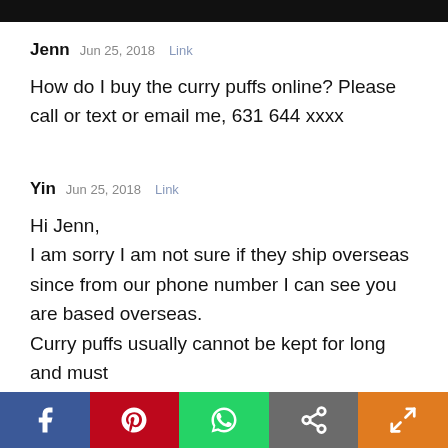Jenn   Jun 25, 2018   Link

How do I buy the curry puffs online? Please call or text or email me, 631 644 xxxx
Yin   Jun 25, 2018   Link

Hi Jenn,
I am sorry I am not sure if they ship overseas since from our phone number I can see you are based overseas.
Curry puffs usually cannot be kept for long and must
[Figure (infographic): Social share bar at bottom with Facebook, Pinterest, WhatsApp, share/copy, and more-sharing icons in blue, red, green, grey, and orange sections]